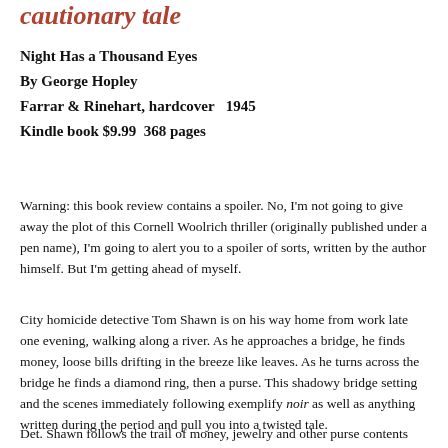cautionary tale
Night Has a Thousand Eyes
By George Hopley
Farrar & Rinehart, hardcover   1945
Kindle book $9.99  368 pages
Warning: this book review contains a spoiler. No, I'm not going to give away the plot of this Cornell Woolrich thriller (originally published under a pen name), I'm going to alert you to a spoiler of sorts, written by the author himself. But I'm getting ahead of myself.
City homicide detective Tom Shawn is on his way home from work late one evening, walking along a river. As he approaches a bridge, he finds money, loose bills drifting in the breeze like leaves. As he turns across the bridge he finds a diamond ring, then a purse. This shadowy bridge setting and the scenes immediately following exemplify noir as well as anything written during the period and pull you into a twisted tale.
Det. Shawn follows the trail of money, jewelry and other purse contents until he sees high-heel shoes and finally a woman